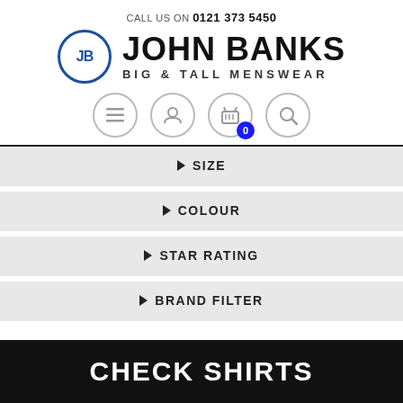CALL US ON 0121 373 5450
[Figure (logo): John Banks Big & Tall Menswear logo with JB circle monogram in blue]
[Figure (infographic): Navigation icons: hamburger menu, user account, shopping basket with 0 badge, search]
▶ SIZE
▶ COLOUR
▶ STAR RATING
▶ BRAND FILTER
CHECK SHIRTS